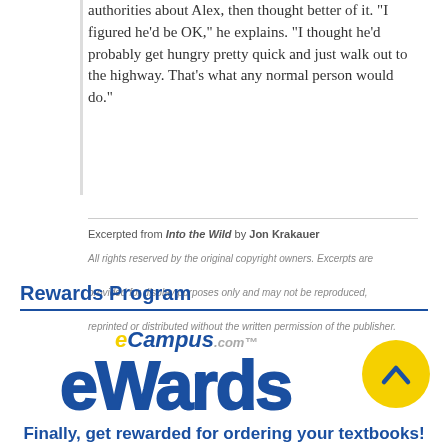authorities about Alex, then thought better of it. "I figured he'd be OK," he explains. "I thought he'd probably get hungry pretty quick and just walk out to the highway. That's what any normal person would do."
Excerpted from Into the Wild by Jon Krakauer
All rights reserved by the original copyright owners. Excerpts are provided for display purposes only and may not be reproduced, reprinted or distributed without the written permission of the publisher.
Rewards Program
[Figure (logo): eCampus.com eWards logo with yellow and blue text, alongside a yellow circle with a blue upward chevron]
Finally, get rewarded for ordering your textbooks!